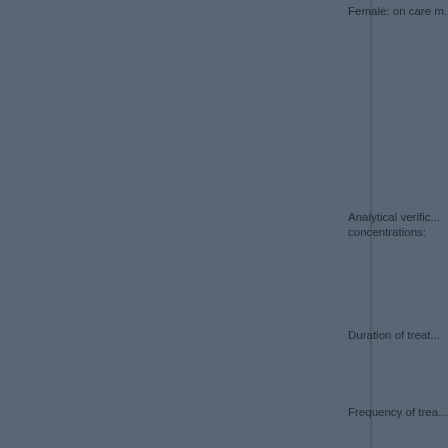Female: on care m...
Analytical verific... concentrations:
Duration of treat...
Frequency of trea...
Doses / concentrati...
Remarks:
No. of animals an...
Control animals:
Female: on study c...